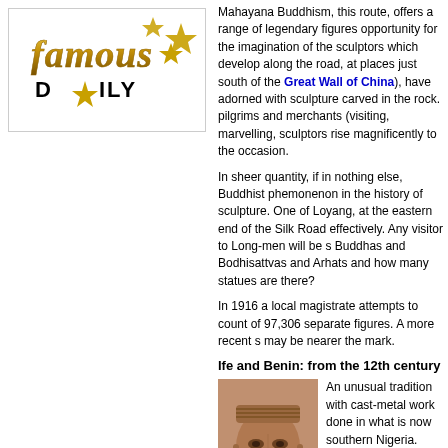[Figure (logo): Famous Daily logo with gold/bronze script text and gold stars]
Mahayana Buddhism, this route, offers a range of legendary figures opportunity for the imagination of the sculptors which develop along the road, at places just south of the Great Wall of China), have adorned with sculpture carved in the rock. pilgrims and merchants (visiting, marvelling, sculptors rise magnificently to the occasion.
In sheer quantity, if in nothing else, Buddhist phemonenon in the history of sculpture. One of Loyang, at the eastern end of the Silk Road effectively. Any visitor to Long-men will be surprised Buddhas and Bodhisattvas and Arhats and how many statues are there?
In 1916 a local magistrate attempts to count of 97,306 separate figures. A more recent survey may be nearer the mark.
Ife and Benin: from the 12th century
[Figure (photo): Terracotta or bronze sculptural head from Ife, showing detailed facial features and headdress]
An unusual tradition with cast-metal work done in what is now southern Nigeria. It reaches a peak of perfection among the people of Ife. Between century life-size heads length figures - all of a in brass and sometimes in pure copper (techniques). These figures have an extraordinary quiet i